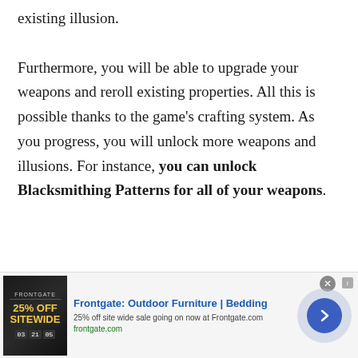existing illusion.

Furthermore, you will be able to upgrade your weapons and reroll existing properties. All this is possible thanks to the game's crafting system. As you progress, you will unlock more weapons and illusions. For instance, you can unlock Blacksmithing Patterns for all of your weapons.
[Figure (other): Advertisement banner for Frontgate: Outdoor Furniture | Bedding. Shows '25% OFF SITEWIDE' promotion with frontgate.com URL and a circular arrow button.]